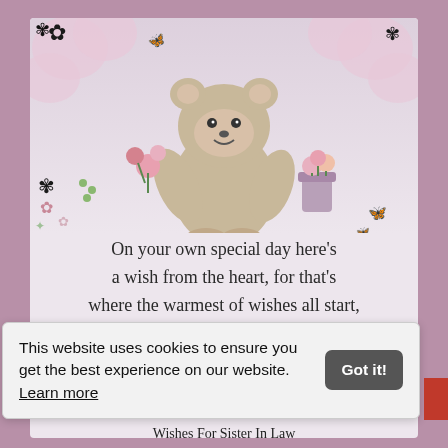[Figure (illustration): Birthday greeting card showing a cute teddy bear holding flowers with decorative pink flowers and butterflies around the border on a lilac/purple background]
On your own special day here's a wish from the heart, for that's where the warmest of wishes all start, have a birthday that's perfect in all kinds of ways, and a year that's filled with
This website uses cookies to ensure you get the best experience on our website. Learn more
Wishes For Sister In Law